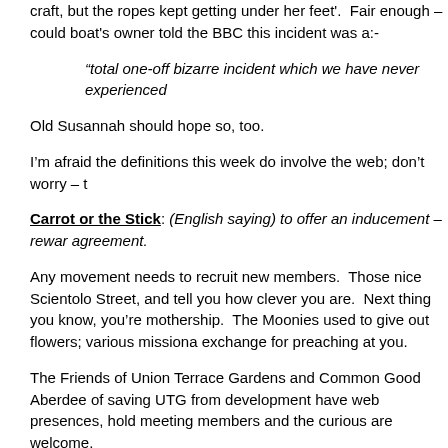craft, but the ropes kept getting under her feet'.  Fair enough – could boat's owner told the BBC this incident was a:-
“total one-off bizarre incident which we have never experienced
Old Susannah should hope so, too.
I’m afraid the definitions this week do involve the web; don’t worry – t
Carrot or the Stick: (English saying) to offer an inducement – rewar agreement.
Any movement needs to recruit new members.  Those nice Scientolo Street, and tell you how clever you are.  Next thing you know, you’re mothership.  The Moonies used to give out flowers; various missiona exchange for preaching at you.
The Friends of Union Terrace Gardens and Common Good Aberdee of saving UTG from development have web presences, hold meeting members and the curious are welcome.